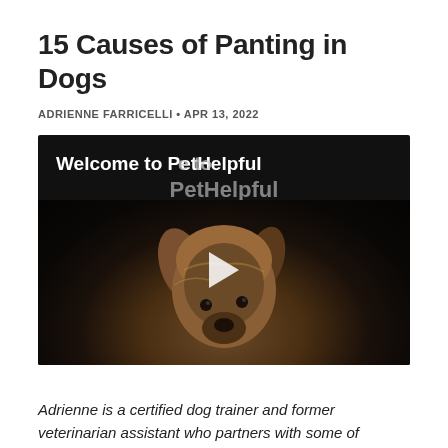15 Causes of Panting in Dogs
ADRIENNE FARRICELLI • APR 13, 2022
[Figure (screenshot): Video thumbnail showing a small Yorkshire Terrier dog against a dark background with text 'Welcome to PetHelpful' and a play button overlay.]
Adrienne is a certified dog trainer and former veterinarian assistant who partners with some of